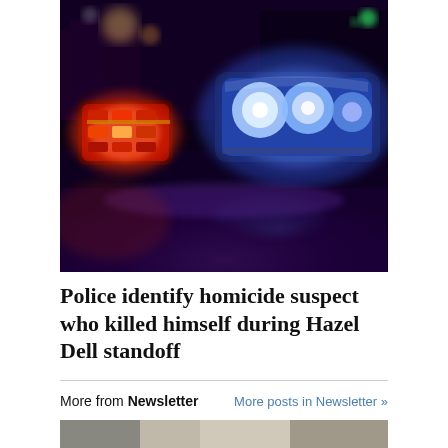[Figure (photo): Close-up photo of police car light bar at night showing bright blue and red flashing lights reflecting off the roof of the car, dark background]
Police identify homicide suspect who killed himself during Hazel Dell standoff
More from Newsletter
More posts in Newsletter »
[Figure (photo): Partial bottom image, cropped]